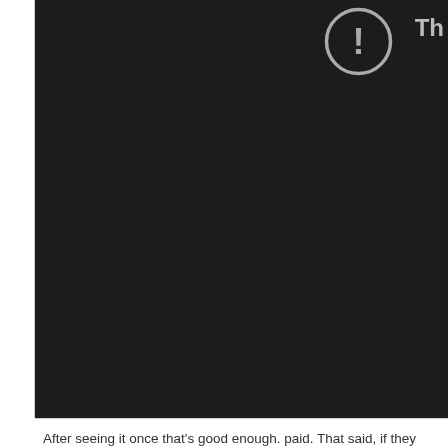[Figure (screenshot): Video player showing an error/unavailable state with a black background, a circled exclamation mark icon in the upper right area, and partial text 'Th' visible]
After seeing it once that's good enough. paid. That said, if they can't tour this upc run, or I'll just YouTube and pick and cho
[Figure (screenshot): Find button with magnifying glass icon]
01-07-2022, 01:30 AM
TheBigTBone Wrote: →
danfromnj Wrote: →
The i...
James1
Member